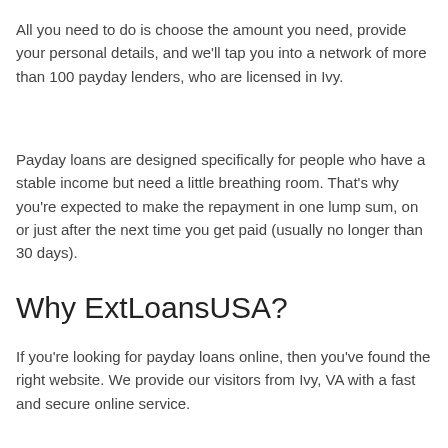All you need to do is choose the amount you need, provide your personal details, and we'll tap you into a network of more than 100 payday lenders, who are licensed in Ivy.
Payday loans are designed specifically for people who have a stable income but need a little breathing room. That's why you're expected to make the repayment in one lump sum, on or just after the next time you get paid (usually no longer than 30 days).
Why ExtLoansUSA?
If you're looking for payday loans online, then you've found the right website. We provide our visitors from Ivy, VA with a fast and secure online service.